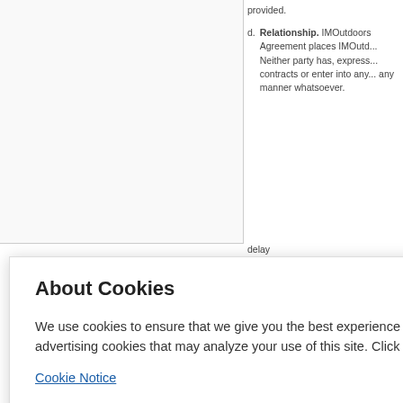provided.
d. Relationship. IMOutdoors Agreement places IMOutd... Neither party has, express... contracts or enter into any... any manner whatsoever.
delay... shall a... ereof... each... ent to...
rovis... nforce... or po... emai...
y no... e pri... mplian... l and... Reg... its ri... to the... at IM... rithout... mplies...
About Cookies

We use cookies to ensure that we give you the best experience on our website. This includes cookies from third party social media websites and advertising cookies that may analyze your use of this site. Click "Got it" to agree or "Cookie Settings" to opt out.

Cookie Notice

Got It

Cookies Settings